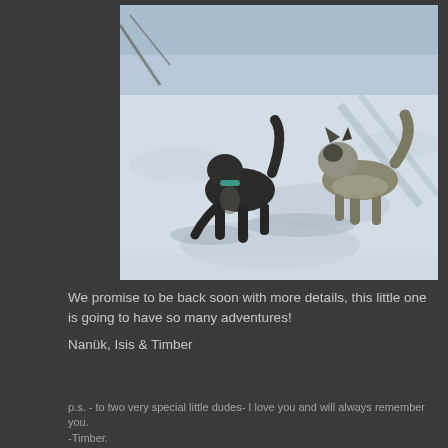[Figure (photo): Two dogs playing in the snow. A dark/black dog on the left and a grey-and-tan dog on the right appear to be interacting or playing. The background is a snow-covered field with shadows and some bare branches visible.]
We promise to be back soon with more details, this little one is going to have so many adventures!
Nanük, Isis & Timber
p.s. - to two very special little dudes- I love you and will always remember you. -Timber.